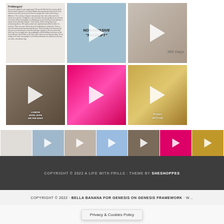[Figure (screenshot): Instagram-style grid showing 6 video thumbnails in 2 rows of 3: text post, non-invasive facelift procedure, wedding couple (365 Days), living room hotel suite, pink fluffy object, gold staircase]
[Figure (screenshot): Smaller thumbnail strip of 7 images at bottom of page, same content as grid above]
COPYRIGHT © 2022 A LIFE WITH FRILLS : THEME BY SHESHOPPES
COPYRIGHT © 2022 · BELLA BANANA FOR GENESIS ON GENESIS FRAMEWORK · W…
Privacy & Cookies Policy